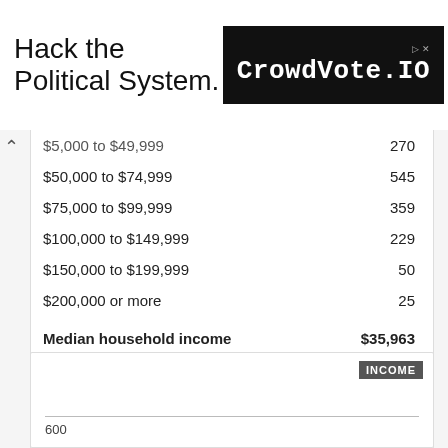[Figure (other): Ad banner: 'Hack the Political System.' with CrowdVote.IO logo on black background]
| Income Range | Count |
| --- | --- |
| $5,000 to $49,999 | 270 |
| $50,000 to $74,999 | 545 |
| $75,000 to $99,999 | 359 |
| $100,000 to $149,999 | 229 |
| $150,000 to $199,999 | 50 |
| $200,000 or more | 25 |
| Median household income | $35,963 |
| Mean household income | $49,872 |
| Percentage of people whose income in the past 12 months is below the poverty level | 18.4% |
[Figure (bar-chart): Income chart beginning to appear at bottom of page, labeled INCOME, with y-axis value 600 visible]